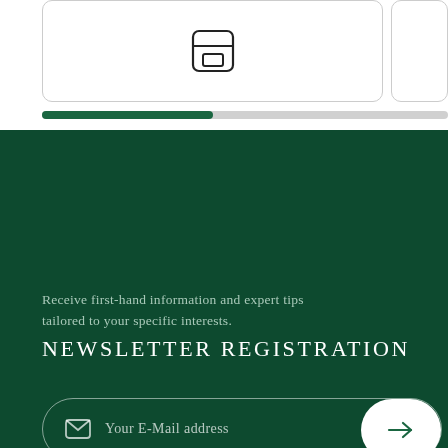[Figure (illustration): Card UI element with envelope/screen icon and a smaller card to the right, with a progress bar below]
Receive first-hand information and expert tips tailored to your specific interests.
NEWSLETTER REGISTRATION
[Figure (illustration): Email input field with envelope icon placeholder text 'Your E-Mail address' and an arrow submit button]
DEALER LOCATOR
PRESS